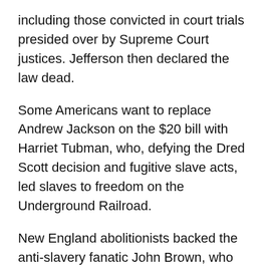including those convicted in court trials presided over by Supreme Court justices. Jefferson then declared the law dead.
Some Americans want to replace Andrew Jackson on the $20 bill with Harriet Tubman, who, defying the Dred Scott decision and fugitive slave acts, led slaves to freedom on the Underground Railroad.
New England abolitionists backed the anti-slavery fanatic John Brown, who conducted the raid on Harpers Ferry that got him hanged but helped to precipitate a Civil War. That war was fought over whether 11 Southern states had the same right to break free of Mr. Lincoln’s Union as the 13 colonies did to break free of George III’s England.
Millions of Americans, with untroubled consciences, defied